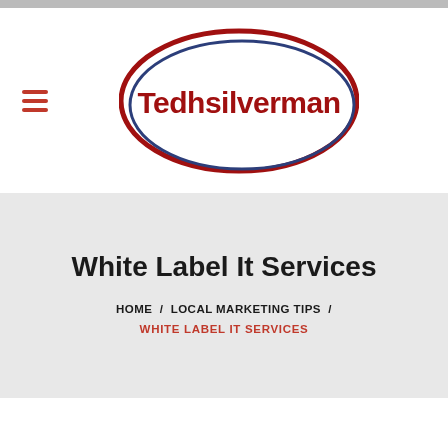[Figure (logo): Tedhsilverman logo — oval shape with dark red outer ring and dark blue inner ring, with 'Tedhsilverman' text in dark red inside]
White Label It Services
HOME / LOCAL MARKETING TIPS / WHITE LABEL IT SERVICES